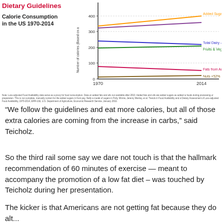[Figure (line-chart): Dietary Guidelines – Calorie Consumption in the US 1970-2014]
Note: Loss-adjusted Food Availability data serve as a proxy for food consumption. Data on added fats and oils not available after 2010. Added fats and oils are added sugars as added to foods during processing or preparation. This is not complete, manually correct for the added sugars in front pay. Nelly a model of sugars in Polly, Minnie, Jeremy Manley, et al. Trends in Food Availability and a Dietary Assessment of Loss-adjusted Food Availability, 1970-2014, ERR-166, U.S. Department of Agriculture, Economic Research Service, January 2016.
“We follow the guidelines and eat more calories, but all of those extra calories are coming from the increase in carbs,” said Teicholz.
So the third rail some say we dare not touch is that the hallmark recommendation of 60 minutes of exercise — meant to accompany the promotion of a low fat diet – was touched by Teicholz during her presentation.
The kicker is that Americans are not getting fat because they do alt...